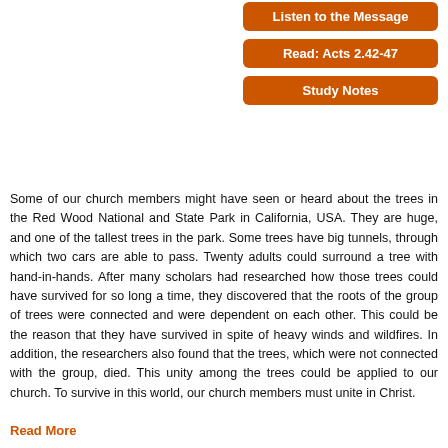[Figure (other): Orange button labeled 'Listen to the Message']
[Figure (other): Orange button labeled 'Read: Acts 2.42-47']
[Figure (other): Orange button labeled 'Study Notes']
Some of our church members might have seen or heard about the trees in the Red Wood National and State Park in California, USA. They are huge, and one of the tallest trees in the park. Some trees have big tunnels, through which two cars are able to pass. Twenty adults could surround a tree with hand-in-hands. After many scholars had researched how those trees could have survived for so long a time, they discovered that the roots of the group of trees were connected and were dependent on each other. This could be the reason that they have survived in spite of heavy winds and wildfires. In addition, the researchers also found that the trees, which were not connected with the group, died. This unity among the trees could be applied to our church. To survive in this world, our church members must unite in Christ.
Read More